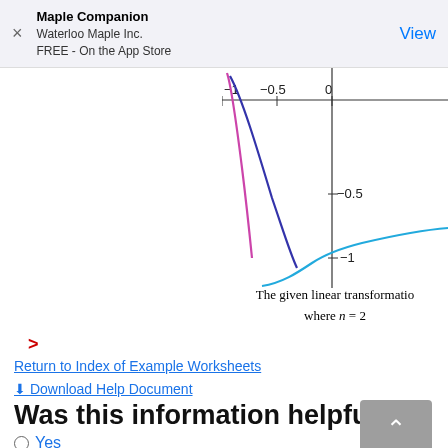[Figure (other): App Store advertisement banner for Maple Companion by Waterloo Maple Inc., FREE on the App Store, with a View button]
[Figure (continuous-plot): Partial mathematical plot showing curves (purple/magenta, dark blue, and cyan) on a coordinate system. Visible x-axis labels: -1, -0.5, 0. Visible y-axis labels: -0.5, -1. The curves appear to be related to a linear transformation where n=2.]
The given linear transformation where n = 2
>
Return to Index of Example Worksheets
Download Help Document
Was this information helpful?
Yes